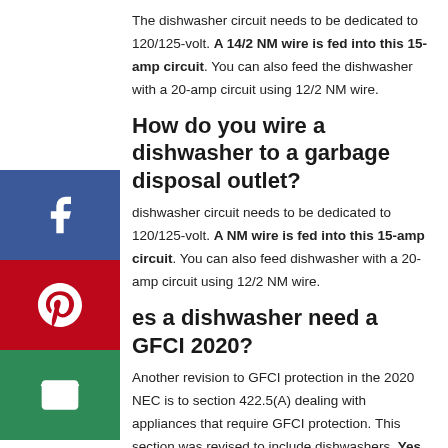The dishwasher circuit needs to be dedicated to 120/125-volt. A 14/2 NM wire is fed into this 15-amp circuit. You can also feed the dishwasher with a 20-amp circuit using 12/2 NM wire.
How do you wire a dishwasher to a garbage disposal outlet?
dishwasher circuit needs to be dedicated to 120/125-volt. A NM wire is fed into this 15-amp circuit. You can also feed dishwasher with a 20-amp circuit using 12/2 NM wire.
es a dishwasher need a GFCI 2020?
Another revision to GFCI protection in the 2020 NEC is to section 422.5(A) dealing with appliances that require GFCI protection. This section was revised to include dishwashers. Yes, dishwashers!
What appliances require GFCI?